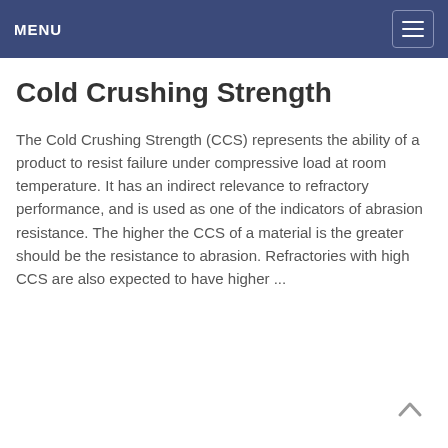MENU
Cold Crushing Strength
The Cold Crushing Strength (CCS) represents the ability of a product to resist failure under compressive load at room temperature. It has an indirect relevance to refractory performance, and is used as one of the indicators of abrasion resistance. The higher the CCS of a material is the greater should be the resistance to abrasion. Refractories with high CCS are also expected to have higher ...